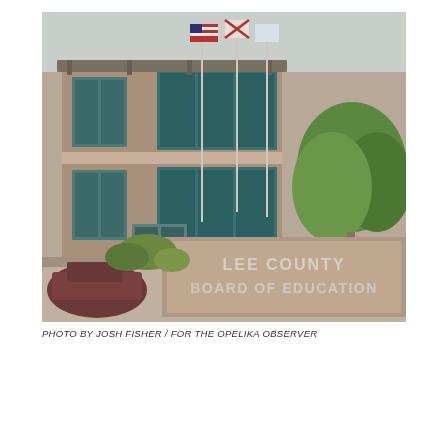[Figure (photo): Exterior photograph of the Lee County Board of Education building, a two-story brick structure with large windows and three flagpoles flying the American flag, Alabama state flag, and another flag. A stone sign in the foreground reads 'LEE COUNTY BOARD OF EDUCATION'. Trees are visible on the right and a car is partially visible on the lower left.]
PHOTO BY JOSH FISHER / FOR THE OPELIKA OBSERVER